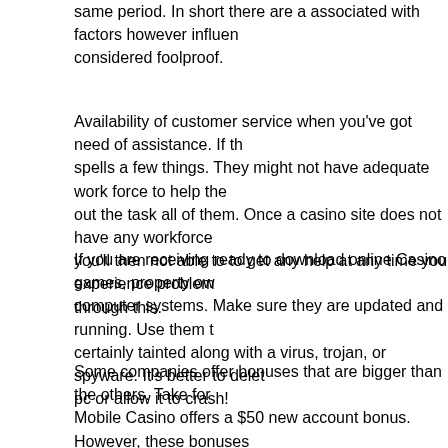same period. In short there are a associated with factors however influenced considered foolproof.
Availability of customer service when you've got need of assistance. If the spells a few things. They might not have adequate work force to help the out the task all of them. Once a casino site does not have any workforce you'll then not able to to get any help at any time you experience problems through this.
If you are receiving ready to download online Casino games, property own computer systems. Make sure they are updated and running. Use them certainly tainted along with a virus, trojan, or spyware. It's better to delete pc or allow it to crash!
Some companies offer bonuses that are bigger than the others. Take for Mobile Casino offers a $50 new account bonus. However, these bonuses order for it to be withdraw-able, check the rules of the company regarding
When players count cards, they will probably have a slight edge up against casino should have a large bankroll to weather was clickable . and play for Sometimes counters will ought to sit through poor decks to unearth the good win every blackjack session they play – neither a casino patron nor the dealer